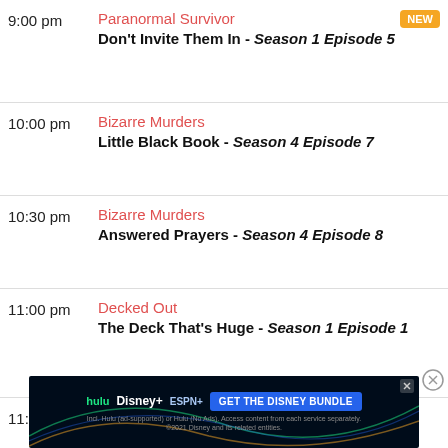9:00 pm | Paranormal Survivor | Don't Invite Them In - Season 1 Episode 5 | NEW
10:00 pm | Bizarre Murders | Little Black Book - Season 4 Episode 7
10:30 pm | Bizarre Murders | Answered Prayers - Season 4 Episode 8
11:00 pm | Decked Out | The Deck That's Huge - Season 1 Episode 1
11:30 pm | Decked Out | ...isode 3
[Figure (screenshot): Disney Bundle advertisement banner: hulu Disney+ ESPN+ GET THE DISNEY BUNDLE. Incl. Hulu (ad-supported) or Hulu (No Ads). Access content from each service separately. ©2021 Disney and its related entities.]